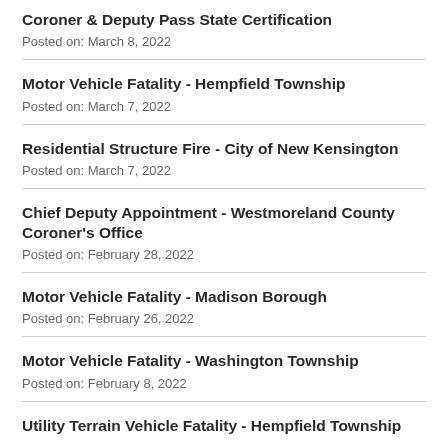Coroner & Deputy Pass State Certification
Posted on: March 8, 2022
Motor Vehicle Fatality - Hempfield Township
Posted on: March 7, 2022
Residential Structure Fire - City of New Kensington
Posted on: March 7, 2022
Chief Deputy Appointment - Westmoreland County Coroner's Office
Posted on: February 28, 2022
Motor Vehicle Fatality - Madison Borough
Posted on: February 26, 2022
Motor Vehicle Fatality - Washington Township
Posted on: February 8, 2022
Utility Terrain Vehicle Fatality - Hempfield Township